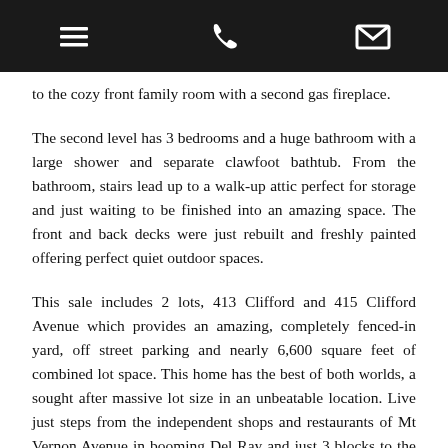[navigation bar with menu, phone, and email icons]
to the cozy front family room with a second gas fireplace.
The second level has 3 bedrooms and a huge bathroom with a large shower and separate clawfoot bathtub. From the bathroom, stairs lead up to a walk-up attic perfect for storage and just waiting to be finished into an amazing space. The front and back decks were just rebuilt and freshly painted offering perfect quiet outdoor spaces.
This sale includes 2 lots, 413 Clifford and 415 Clifford Avenue which provides an amazing, completely fenced-in yard, off street parking and nearly 6,600 square feet of combined lot space. This home has the best of both worlds, a sought after massive lot size in an unbeatable location. Live just steps from the independent shops and restaurants of Mt Vernon Avenue in booming Del Ray and just 3 blocks to the Potomac Yard metro (which is to be finished in 2022) and stores like Target, Best Buy